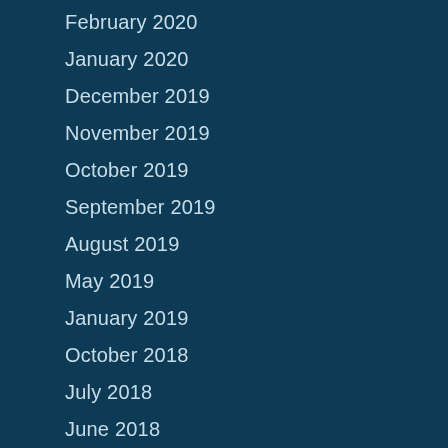February 2020
January 2020
December 2019
November 2019
October 2019
September 2019
August 2019
May 2019
January 2019
October 2018
July 2018
June 2018
May 2018
April 2018